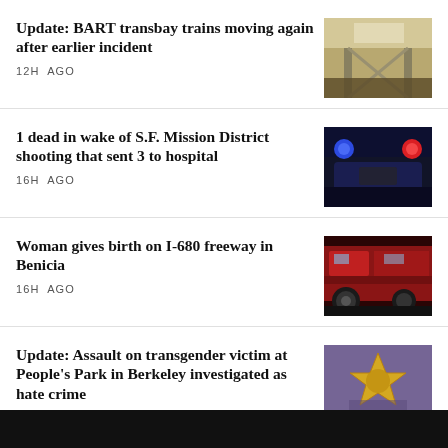Update: BART transbay trains moving again after earlier incident
12H AGO
[Figure (photo): BART station escalator photo]
1 dead in wake of S.F. Mission District shooting that sent 3 to hospital
16H AGO
[Figure (photo): Police car with flashing blue and red lights at night]
Woman gives birth on I-680 freeway in Benicia
16H AGO
[Figure (photo): Red fire truck close-up]
Update: Assault on transgender victim at People's Park in Berkeley investigated as hate crime
[Figure (photo): Police badge close-up photo]